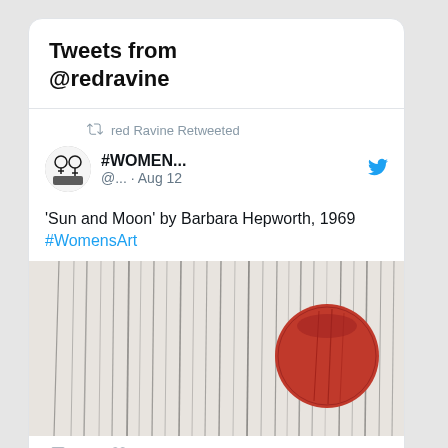Tweets from @redravine
red Ravine Retweeted
#WOMEN... @... · Aug 12
'Sun and Moon' by Barbara Hepworth, 1969 #WomensArt
[Figure (photo): Artwork showing 'Sun and Moon' by Barbara Hepworth, 1969. A textured white/grey background with dark vertical brushstrokes and a prominent red circular form on the right side.]
3   1K